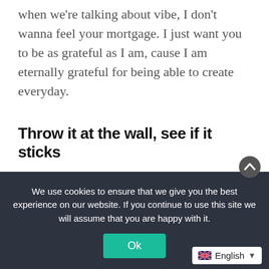when we're talking about vibe, I don't wanna feel your mortgage. I just want you to be as grateful as I am, cause I am eternally grateful for being able to create everyday.
Throw it at the wall, see if it sticks
R: What mixing tools are you using in your productions?
Y: I'm not a world class mixer or anything, so Kami Records has really helped to guide me. I've learned a
We use cookies to ensure that we give you the best experience on our website. If you continue to use this site we will assume that you are happy with it.